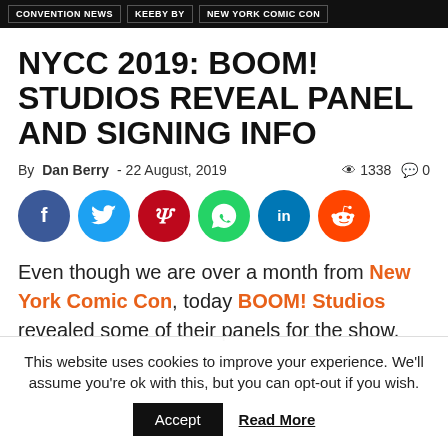CONVENTION NEWS  KEEBY BY  NEW YORK COMIC CON
NYCC 2019: BOOM! STUDIOS REVEAL PANEL AND SIGNING INFO
By Dan Berry - 22 August, 2019   1338   0
[Figure (infographic): Social share icons: Facebook (blue), Twitter (light blue), Pinterest (red), WhatsApp (green), LinkedIn (blue), Reddit (orange)]
Even though we are over a month from New York Comic Con, today BOOM! Studios revealed some of their panels for the show.
This website uses cookies to improve your experience. We'll assume you're ok with this, but you can opt-out if you wish. Accept  Read More